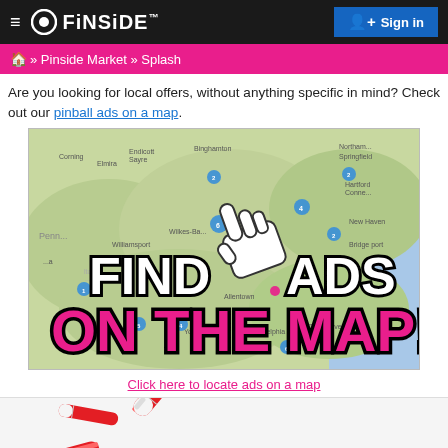≡  FINSIDE™   Sign in
🏠 » Pinside Market » Splash
Are you looking for local offers, without anything specific in mind? Check out our pinball ads on a map.
[Figure (map): Map of northeastern USA showing pinball ad locations marked with blue circle markers, overlaid with bold text 'FIND ADS ON THE MAP!' with a pointing hand cursor icon]
Click here to locate ads on a map
[Figure (photo): Pinball flippers (red and white) visible at bottom left corner]
© 2001-2022 Pinside.com All rights reserved. Rendered in
0.17134s